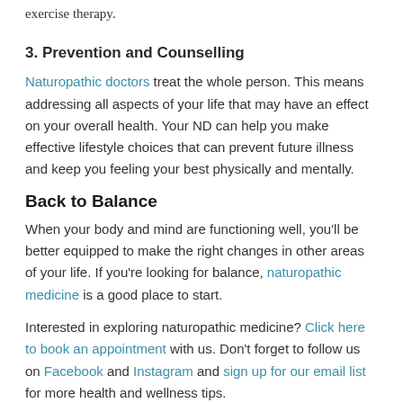exercise therapy.
3. Prevention and Counselling
Naturopathic doctors treat the whole person. This means addressing all aspects of your life that may have an effect on your overall health. Your ND can help you make effective lifestyle choices that can prevent future illness and keep you feeling your best physically and mentally.
Back to Balance
When your body and mind are functioning well, you'll be better equipped to make the right changes in other areas of your life. If you're looking for balance, naturopathic medicine is a good place to start.
Interested in exploring naturopathic medicine? Click here to book an appointment with us. Don't forget to follow us on Facebook and Instagram and sign up for our email list for more health and wellness tips.